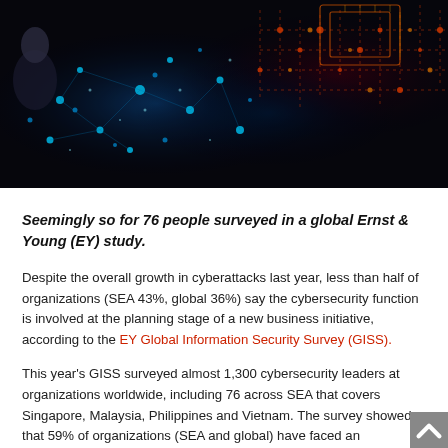[Figure (photo): Dark cybersecurity themed image with glowing circuit-board patterns, blue and red/orange light nodes, and digital network visuals on dark background]
Seemingly so for 76 people surveyed in a global Ernst & Young (EY) study.
Despite the overall growth in cyberattacks last year, less than half of organizations (SEA 43%, global 36%) say the cybersecurity function is involved at the planning stage of a new business initiative, according to the EY Global Information Security Survey (GISS).
This year's GISS surveyed almost 1,300 cybersecurity leaders at organizations worldwide, including 76 across SEA that covers Singapore, Malaysia, Philippines and Vietnam. The survey showed that 59% of organizations (SEA and global) have faced an